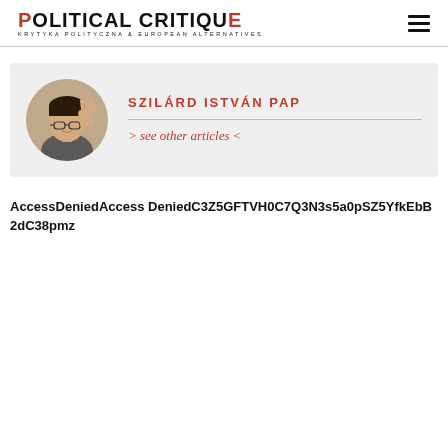POLITICAL CRITIQUE — KRYTYKA POLITYCZNA & EUROPEAN ALTERNATIVES
[Figure (photo): Circular photo of a young man with glasses raising one hand in a stop gesture, wearing a grey t-shirt. Author: Szilárd István Pap.]
SZILÁRD ISTVÁN PAP
> see other articles <
AccessDeniedAccess DeniedC3Z5GFTVH0C7Q3N3s5a0pSZ5YfkEbB2dC38pmz